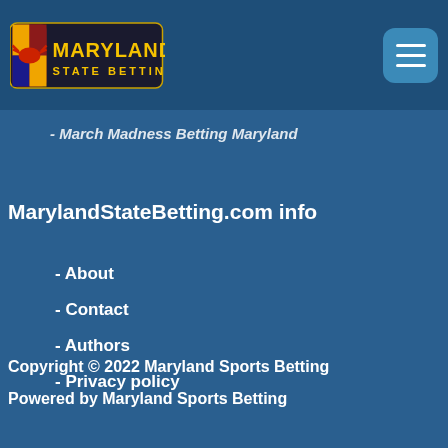[Figure (logo): Maryland State Betting logo with state flag crab icon and yellow/black text on dark background]
- March Madness Betting Maryland
MarylandStateBetting.com info
- About
- Contact
- Authors
- Privacy policy
Copyright © 2022 Maryland Sports Betting
Powered by Maryland Sports Betting